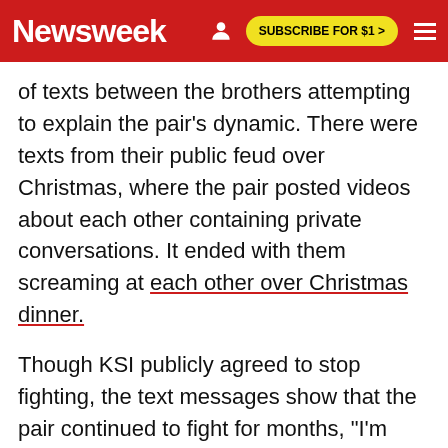Newsweek | SUBSCRIBE FOR $1 >
of texts between the brothers attempting to explain the pair's dynamic. There were texts from their public feud over Christmas, where the pair posted videos about each other containing private conversations. It ended with them screaming at each other over Christmas dinner.
Though KSI publicly agreed to stop fighting, the text messages show that the pair continued to fight for months, "I'm tired of being treated like shit, this is me finally standing up